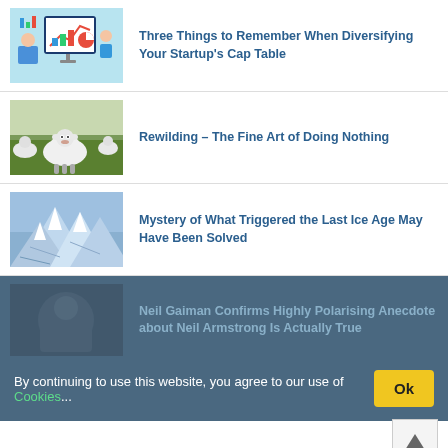[Figure (illustration): Analytics/finance graphic with computer screen showing charts]
Three Things to Remember When Diversifying Your Startup’s Cap Table
[Figure (photo): Sheep in a field]
Rewilding – The Fine Art of Doing Nothing
[Figure (photo): Snowy mountain / ice age landscape]
Mystery of What Triggered the Last Ice Age May Have Been Solved
By continuing to use this website, you agree to our use of Cookies...
[Figure (photo): Person face partially visible]
Neil Gaiman Confirms Highly Polarising Anecdote about Neil Armstrong Is Actually True
[Figure (photo): Military binoculars / surveillance tech]
New Israeli Military Tech Can See Through Walls